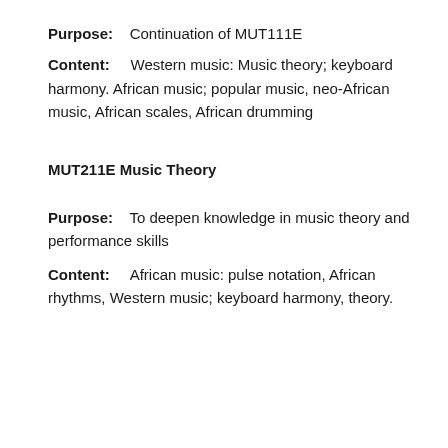Purpose: Continuation of MUT111E
Content: Western music: Music theory; keyboard harmony. African music; popular music, neo-African music, African scales, African drumming
MUT211E Music Theory
Purpose: To deepen knowledge in music theory and performance skills
Content: African music: pulse notation, African rhythms, Western music; keyboard harmony, theory.